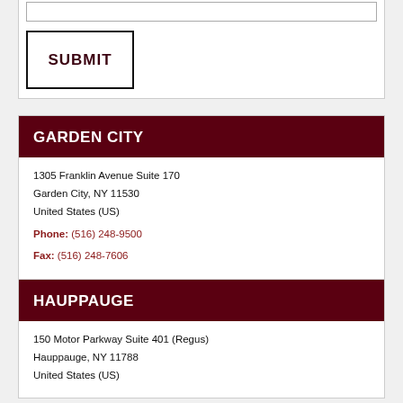SUBMIT
GARDEN CITY
1305 Franklin Avenue Suite 170
Garden City, NY 11530
United States (US)
Phone: (516) 248-9500
Fax: (516) 248-7606
HAUPPAUGE
150 Motor Parkway Suite 401 (Regus)
Hauppauge, NY 11788
United States (US)